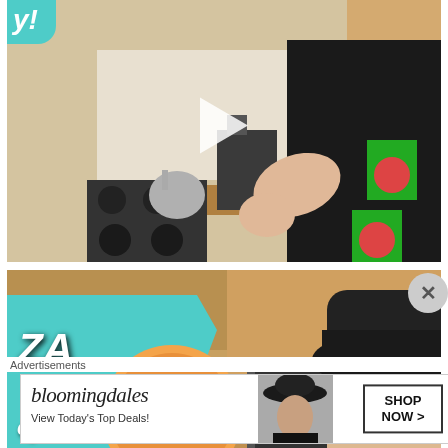[Figure (screenshot): Video thumbnail showing a man in a black t-shirt with pizza apron in a kitchen, with a play button overlay and a teal 'joy!' label in the top-left corner]
[Figure (screenshot): Video thumbnail showing a man wearing a black chef hat with a teal starburst graphic showing a pizza, text 'ZA ep.4' on the left side]
Advertisements
[Figure (photo): Bloomingdales advertisement banner: 'bloomingdales - View Today's Top Deals!' with a woman in a black hat and a 'SHOP NOW >' button]